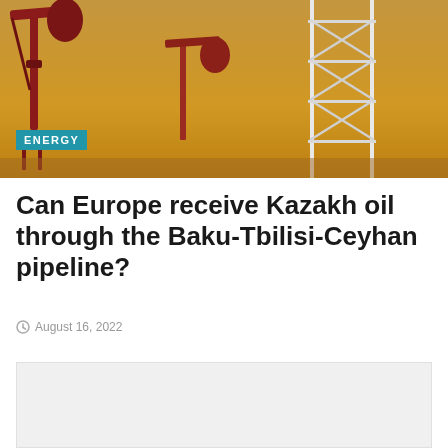[Figure (photo): Oil pump jacks and industrial equipment against a golden sky background with an ENERGY category badge overlaid]
Can Europe receive Kazakh oil through the Baku-Tbilisi-Ceyhan pipeline?
August 16, 2022
[Figure (other): Advertisement placeholder block with light grey background]